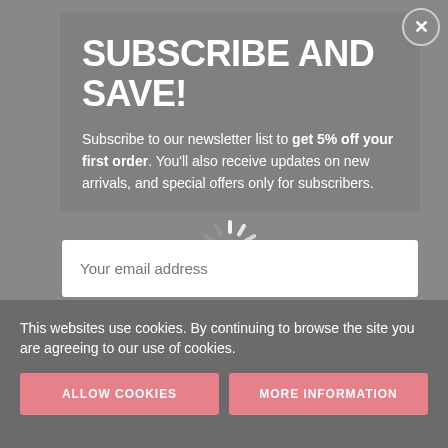SUBSCRIBE AND SAVE!
Subscribe to our newsletter list to get 5% off your first order. You'll also receive updates on new arrivals, and special offers only for subscribers.
Your email address
This websites use cookies. By continuing to browse the site you are agreeing to our use of cookies.
ALLOW COOKIES
MORE INFORMATION